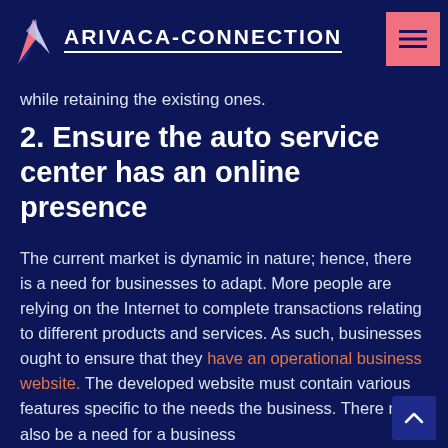ARIVACA-CONNECTION
while retaining the existing ones.
2. Ensure the auto service center has an online presence
The current market is dynamic in nature; hence, there is a need for businesses to adapt. More people are relying on the Internet to complete transactions relating to different products and services. As such, businesses ought to ensure that they have an operational business website. The developed website must contain various features specific to the needs the business. There may also be a need for a business